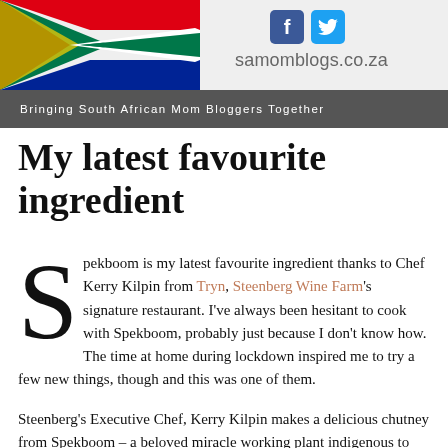[Figure (illustration): SAMomBlogs website header banner with South African flag, Facebook and Twitter icons, and URL samomblogs.co.za on light grey background]
Bringing South African Mom Bloggers Together
My latest favourite ingredient
Spekboom is my latest favourite ingredient thanks to Chef Kerry Kilpin from Tryn, Steenberg Wine Farm's signature restaurant. I've always been hesitant to cook with Spekboom, probably just because I don't know how. The time at home during lockdown inspired me to try a few new things, though and this was one of them.
Steenberg's Executive Chef, Kerry Kilpin makes a delicious chutney from Spekboom – a beloved miracle working plant indigenous to South Africa...